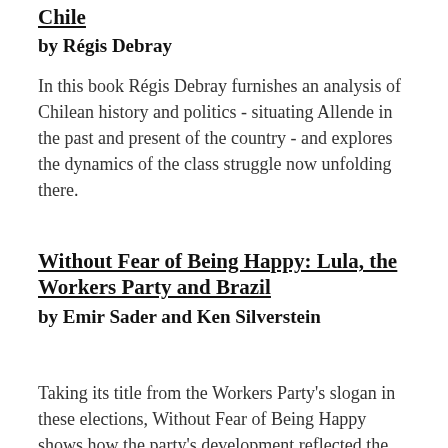Chile
by Régis Debray
In this book Régis Debray furnishes an analysis of Chilean history and politics - situating Allende in the past and present of the country - and explores the dynamics of the class struggle now unfolding there.
Without Fear of Being Happy: Lula, the Workers Party and Brazil
by Emir Sader and Ken Silverstein
Taking its title from the Workers Party's slogan in these elections, Without Fear of Being Happy shows how the party's development reflected the increasing social inequalities